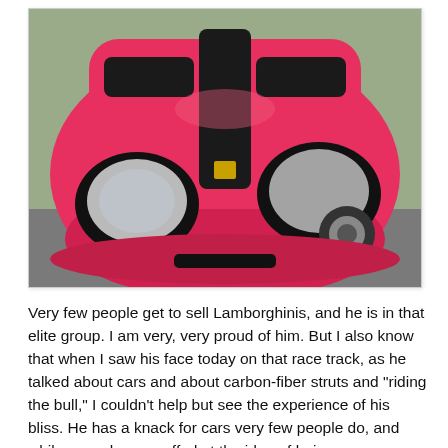[Figure (photo): Front view of a pink/red vintage Lamborghini sports car on a racetrack or parking area, showing the distinctive low hood with black vents and round headlights.]
Very few people get to sell Lamborghinis, and he is in that elite group. I am very, very proud of him. But I also know that when I saw his face today on that race track, as he talked about cars and about carbon-fiber struts and "riding the bull," I couldn't help but see the experience of his bliss. He has a knack for cars very few people do, and while many have scoffed at the idea of being a car salesman, he is very, very good at what he does, and he has reached an enormous level of success for being so young. He works hard, but I could tell that he loved being on that track, talking cars with other car enthusiasts. Today didn't seem like work at all for